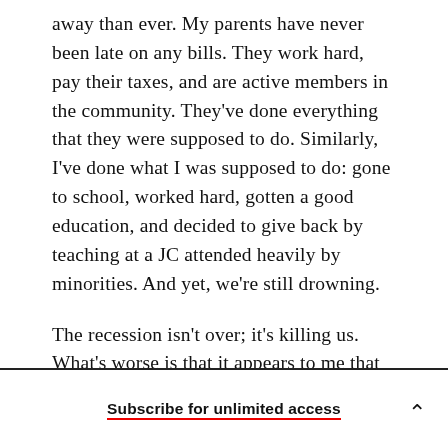away than ever. My parents have never been late on any bills. They work hard, pay their taxes, and are active members in the community. They've done everything that they were supposed to do. Similarly, I've done what I was supposed to do: gone to school, worked hard, gotten a good education, and decided to give back by teaching at a JC attended heavily by minorities. And yet, we're still drowning.

The recession isn't over; it's killing us. What's worse is that it appears to me that the
Subscribe for unlimited access